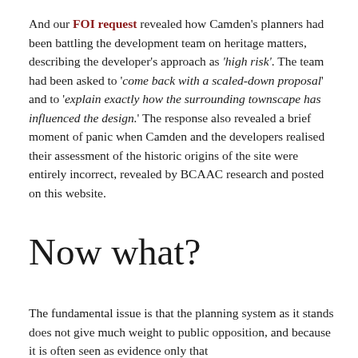And our FOI request revealed how Camden's planners had been battling the development team on heritage matters, describing the developer's approach as 'high risk'. The team had been asked to 'come back with a scaled-down proposal' and to 'explain exactly how the surrounding townscape has influenced the design.' The response also revealed a brief moment of panic when Camden and the developers realised their assessment of the historic origins of the site were entirely incorrect, revealed by BCAAC research and posted on this website.
Now what?
The fundamental issue is that the planning system as it stands does not give much weight to public opposition, and because it is often seen as evidence only that...